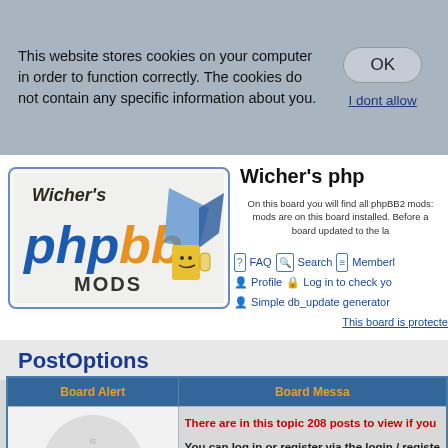This website stores cookies on your computer in order to function correctly. The cookies do not contain any specific information about you.
OK
I dont allow
[Figure (logo): Wicher's phpBB MODS logo with phpbb text and 3D geometric shapes]
Wicher's php
On this board you will find all phpBB2 mods. mods are on this board installed. Before a board updated to the la
FAQ  Search  Memberl  Profile  Log in to check yo  Simple db_update generator  This board is protecte
PostOptions
| Board Alert | Board Messa |
| --- | --- |
| [login circle image] | There are in this topic 208 posts to view if you
You can log in or register via the login / registe |